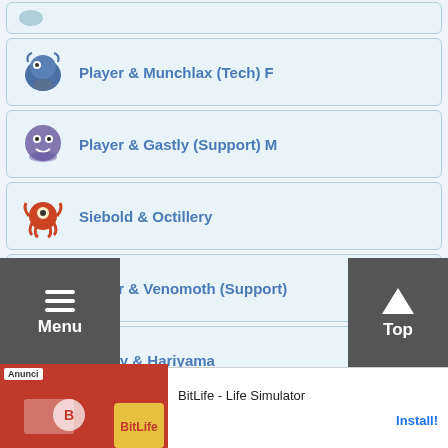Player & Munchlax (Tech) F
Player & Gastly (Support) M
Siebold & Octillery
Player & Venomoth (Support)
Brawly & Hariyama
Viola & Masquerain
Player & Seel (Support) (M)
[Figure (screenshot): BitLife - Life Simulator advertisement banner at bottom of screen]
Menu | Top